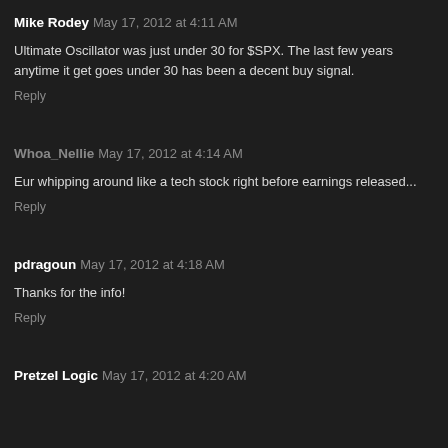Mike Rodey  May 17, 2012 at 4:11 AM
Ultimate Oscillator was just under 30 for $SPX. The last few years anytime it get goes under 30 has been a decent buy signal.
Reply
Whoa_Nellie  May 17, 2012 at 4:14 AM
Eur whipping around like a tech stock right before earnings released...
Reply
pdragoun  May 17, 2012 at 4:18 AM
Thanks for the info!
Reply
Pretzel Logic  May 17, 2012 at 4:20 AM